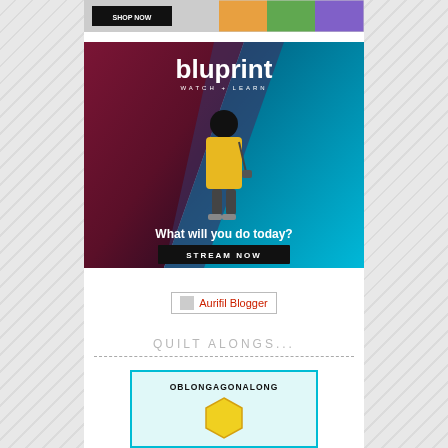[Figure (photo): Top partial image strip showing a quilted item with colorful fabric and a dark button/banner element on the left]
[Figure (photo): Bluprint 'Watch + Learn' advertisement showing a woman in a yellow outfit standing in front of a colorful mural wall. Text reads 'bluprint', 'WATCH + LEARN', 'What will you do today?', 'STREAM NOW']
[Figure (logo): Aurifil Blogger badge/image with red text label 'Aurifil Blogger' and a broken image placeholder icon]
QUILT ALONGS...
[Figure (photo): OBLONGAGONALONG banner/logo with cyan/teal border, showing a hexagon shape at the bottom]